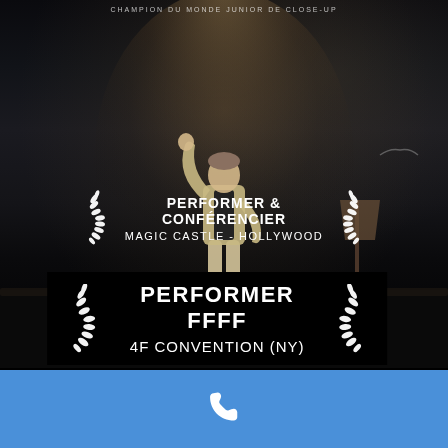[Figure (photo): Dark stage photo with a performer in spotlight, arms raised, wearing a blazer, on a dark theater stage with a music stand visible on the right]
CHAMPION DU MONDE JUNIOR DE CLOSE-UP
PERFORMER & CONFÉRENCIER
MAGIC CASTLE - HOLLYWOOD
PERFORMER FFFF
4F CONVENTION (NY)
[Figure (other): White phone/telephone icon on blue background footer bar]